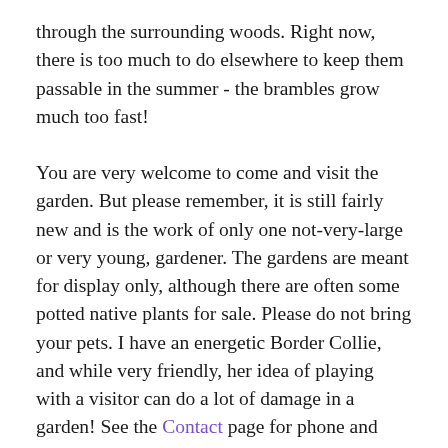through the surrounding woods. Right now, there is too much to do elsewhere to keep them passable in the summer - the brambles grow much too fast!
You are very welcome to come and visit the garden. But please remember, it is still fairly new and is the work of only one not-very-large or very young, gardener. The gardens are meant for display only, although there are often some potted native plants for sale. Please do not bring your pets. I have an energetic Border Collie, and while very friendly, her idea of playing with a visitor can do a lot of damage in a garden! See the Contact page for phone and address information.